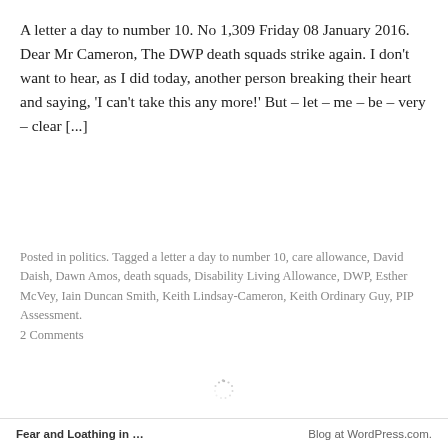A letter a day to number 10. No 1,309 Friday 08 January 2016. Dear Mr Cameron, The DWP death squads strike again. I don't want to hear, as I did today, another person breaking their heart and saying, 'I can't take this any more!' But – let – me – be – very – clear [...]
Posted in politics. Tagged a letter a day to number 10, care allowance, David Daish, Dawn Amos, death squads, Disability Living Allowance, DWP, Esther McVey, Iain Duncan Smith, Keith Lindsay-Cameron, Keith Ordinary Guy, PIP Assessment. 2 Comments
Fear and Loathing in …    Blog at WordPress.com.